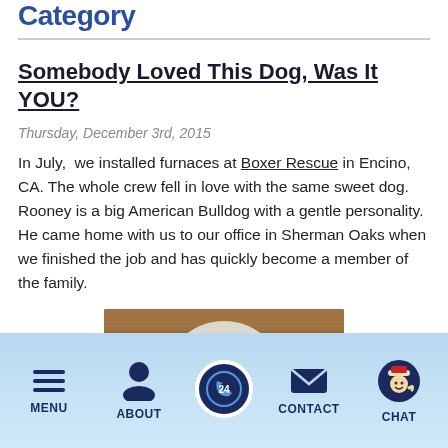Category
Somebody Loved This Dog, Was It YOU?
Thursday, December 3rd, 2015
In July,  we installed furnaces at Boxer Rescue in Encino, CA. The whole crew fell in love with the same sweet dog. Rooney is a big American Bulldog with a gentle personality. He came home with us to our office in Sherman Oaks when we finished the job and has quickly become a member of the family.
[Figure (photo): Top-down photo of a white American Bulldog lying on a wooden floor, face visible with dark spots]
MENU  ABOUT  [24hr icon]  CONTACT  CHAT